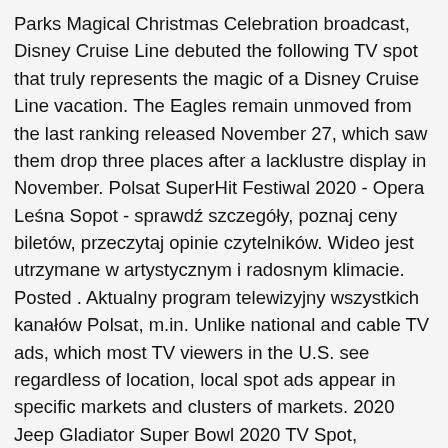Parks Magical Christmas Celebration broadcast, Disney Cruise Line debuted the following TV spot that truly represents the magic of a Disney Cruise Line vacation. The Eagles remain unmoved from the last ranking released November 27, which saw them drop three places after a lacklustre display in November. Polsat SuperHit Festiwal 2020 - Opera Leśna Sopot - sprawdź szczegóły, poznaj ceny biletów, przeczytaj opinie czytelników. Wideo jest utrzymane w artystycznym i radosnym klimacie. Posted . Aktualny program telewizyjny wszystkich kanałów Polsat, m.in. Unlike national and cable TV ads, which most TV viewers in the U.S. see regardless of location, local spot ads appear in specific markets and clusters of markets. 2020 Jeep Gladiator Super Bowl 2020 TV Spot, 'Groundhog Day' Featuring Bill Murray, Song by Sonny and Cher [T1] Online Activity: 14.58% Online Views: 16,578,548 A number of TCL TVs were released throughout 2020, many of which proved you don't need to pay over the odds for a good new TV. Believers (TV Series) Blind Spot (2020) Plot. Three times African Champions, Super Eagles,